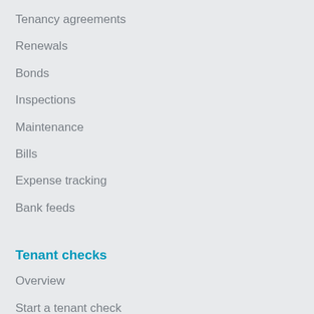Tenancy agreements
Renewals
Bonds
Inspections
Maintenance
Bills
Expense tracking
Bank feeds
Tenant checks
Overview
Start a tenant check
Rental